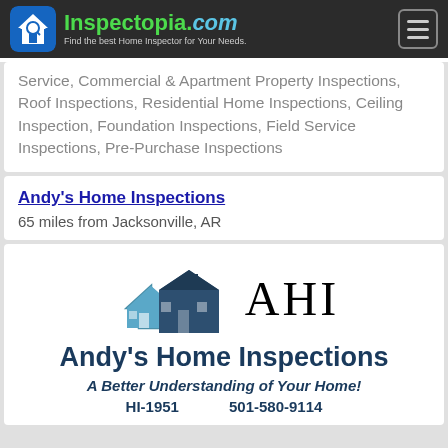Inspectopia.com - Find the best Home Inspector for Your Needs.
Service, Commercial & Apartment Property Inspections, Roof Inspections, Residential Home Inspections, Ceiling Inspection, Foundation Inspections, Field Service Inspections, Pre-Purchase Inspections
Andy's Home Inspections
65 miles from Jacksonville, AR
[Figure (logo): Andy's Home Inspections (AHI) logo with house icon, company name, tagline 'A Better Understanding of Your Home!', HI-1951, 501-580-9114]